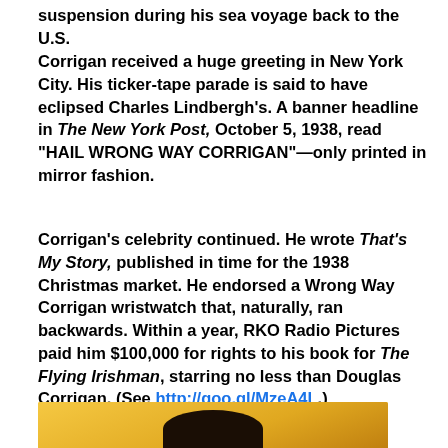suspension during his sea voyage back to the U.S.
Corrigan received a huge greeting in New York City. His ticker-tape parade is said to have eclipsed Charles Lindbergh's. A banner headline in The New York Post, October 5, 1938, read "HAIL WRONG WAY CORRIGAN"—only printed in mirror fashion.
Corrigan's celebrity continued. He wrote That's My Story, published in time for the 1938 Christmas market. He endorsed a Wrong Way Corrigan wristwatch that, naturally, ran backwards. Within a year, RKO Radio Pictures paid him $100,000 for rights to his book for The Flying Irishman, starring no less than Douglas Corrigan. (See http://goo.gl/MzeA4L.)
[Figure (photo): Partial photo showing top of a person's head against a yellow/golden background, cropped at bottom of page]